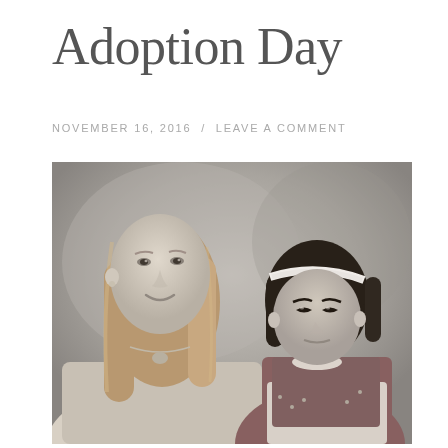Adoption Day
NOVEMBER 16, 2016  /  LEAVE A COMMENT
[Figure (photo): Black and white portrait photograph of a woman with long hair wearing a turtleneck sweater and necklace, posing with a young Asian girl wearing a headband and a dark sleeveless top with floral shirt underneath. Studio portrait background.]